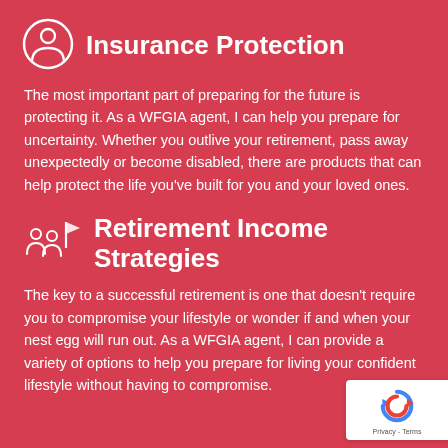Insurance Protection
The most important part of preparing for the future is protecting it. As a WFGIA agent, I can help you prepare for uncertainty. Whether you outlive your retirement, pass away unexpectedly or become disabled, there are products that can help protect the life you’ve built for you and your loved ones.
Retirement Income Strategies
The key to a successful retirement is one that doesn’t require you to compromise your lifestyle or wonder if and when your nest egg will run out. As a WFGIA agent, I can provide a variety of options to help you prepare for living your confident lifestyle without having to compromise.